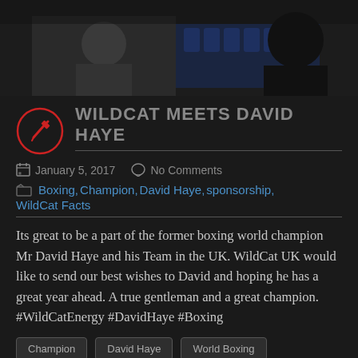[Figure (photo): Photo banner showing a young boy and another person in a venue with blue chairs]
WILDCAT MEETS DAVID HAYE
January 5, 2017   No Comments
Boxing, Champion, David Haye, sponsorship, WildCat Facts
Its great to be a part of the former boxing world champion Mr David Haye and his Team in the UK. WildCat UK would like to send our best wishes to David and hoping he has a great year ahead. A true gentleman and a great champion. #WildCatEnergy #DavidHaye #Boxing
Champion
David Haye
World Boxing